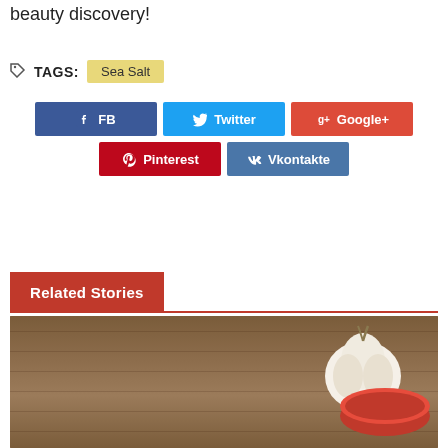beauty discovery!
TAGS: Sea Salt
[Figure (infographic): Social share buttons: FB (Facebook, blue), Twitter (light blue), Google+ (red), Pinterest (dark red), Vkontakte (steel blue)]
Related Stories
[Figure (photo): Photo of garlic and a red bowl on a wooden table surface]